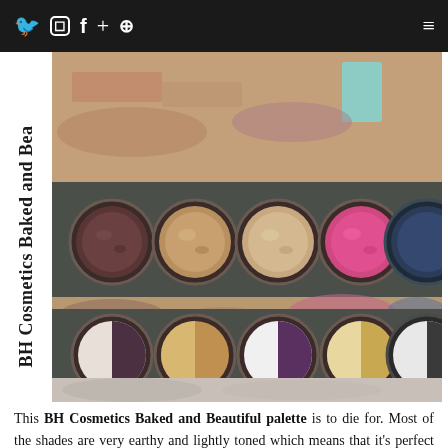BH Cosmetics Baked and Bea [navigation bar with social icons and menu]
[Figure (photo): BH Cosmetics Baked and Beautiful eyeshadow palette showing two rows of pans: top row with single-shade circular pans (dark brown, champagne, beige, pink, navy blue) and bottom row with duo-shade circular pans (white/dark brown, gold/brown, white/purple, gold/white, white/charcoal), surrounded by color swatches on skin]
This BH Cosmetics Baked and Beautiful palette is to die for. Most of the shades are very earthy and lightly toned which means that it's perfect for everyday wear. However, you also get a couple of brightly